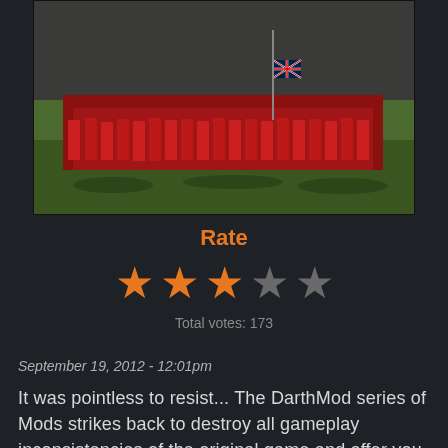[Figure (screenshot): Screenshot of a video game (DarthMod) showing a large formation of soldiers in red uniforms on a green battlefield, with a British flag visible.]
Rate
[Figure (other): Star rating showing 3 out of 5 stars filled in orange, 2 empty grey stars.]
Total votes: 173
September 19, 2012 - 12:01pm
It was pointless to resist... The DarthMod series of Mods strikes back to destroy all gameplay inconsistencies of the original game and offer you better AI, realistic battles